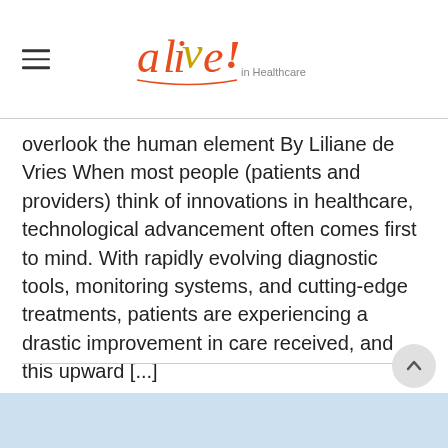alive! in Healthcare [logo]
overlook the human element By Liliane de Vries When most people (patients and providers) think of innovations in healthcare, technological advancement often comes first to mind. With rapidly evolving diagnostic tools, monitoring systems, and cutting-edge treatments, patients are experiencing a drastic improvement in care received, and this upward [...]
[Figure (photo): Partial view of a light-blue toned image at the bottom of the page, content partially visible]